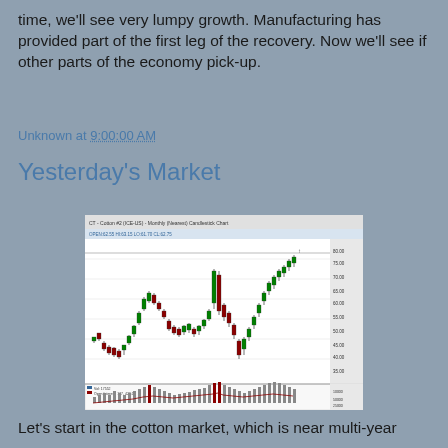time, we'll see very lumpy growth. Manufacturing has provided part of the first leg of the recovery. Now we'll see if other parts of the economy pick-up.
Unknown at 9:00:00 AM
Yesterday's Market
[Figure (continuous-plot): CT - Cotton #2 (ICE-US) monthly candlestick chart showing cotton futures prices from approximately 2001 to 2011, with price range roughly 30-90, and a volume/open interest panel below.]
Let's start in the cotton market, which is near multi-year